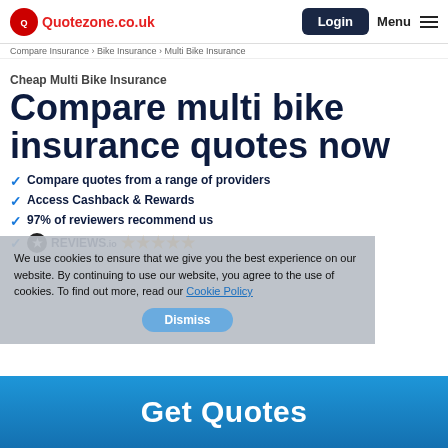Quotezone.co.uk | Login | Menu
Cheap Multi Bike Insurance
Compare multi bike insurance quotes now
Compare quotes from a range of providers
Access Cashback & Rewards
97% of reviewers recommend us
REVIEWS.io ★★★★★
We use cookies to ensure that we give you the best experience on our website. By continuing to use our website, you agree to the use of cookies. To find out more, read our Cookie Policy
Dismiss
Get Quotes